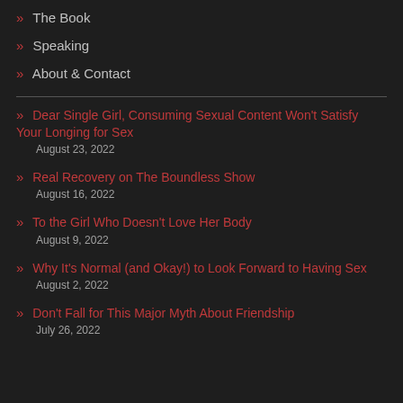» The Book
» Speaking
» About & Contact
» Dear Single Girl, Consuming Sexual Content Won't Satisfy Your Longing for Sex — August 23, 2022
» Real Recovery on The Boundless Show — August 16, 2022
» To the Girl Who Doesn't Love Her Body — August 9, 2022
» Why It's Normal (and Okay!) to Look Forward to Having Sex — August 2, 2022
» Don't Fall for This Major Myth About Friendship — July 26, 2022